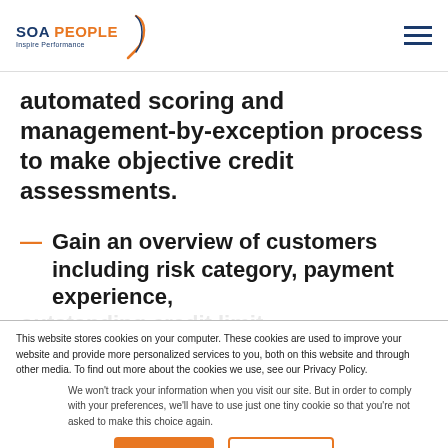SOA PEOPLE — Inspire Performance
automated scoring and management-by-exception process to make objective credit assessments.
Gain an overview of customers including risk category, payment experience,
This website stores cookies on your computer. These cookies are used to improve your website and provide more personalized services to you, both on this website and through other media. To find out more about the cookies we use, see our Privacy Policy.
We won't track your information when you visit our site. But in order to comply with your preferences, we'll have to use just one tiny cookie so that you're not asked to make this choice again.
Accept | Decline